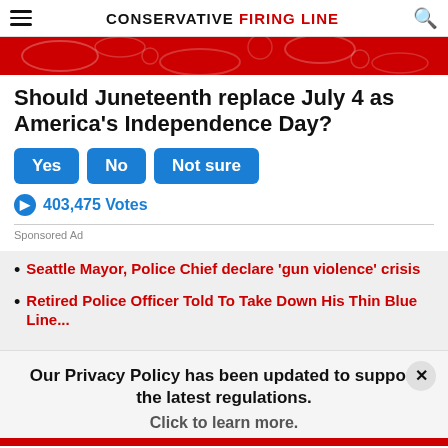CONSERVATIVE FIRING LINE
[Figure (illustration): Red decorative banner image with white floral/scroll patterns]
Should Juneteenth replace July 4 as America's Independence Day?
Yes  No  Not sure
403,475 Votes
Sponsored Ad
Seattle Mayor, Police Chief declare 'gun violence' crisis
Retired Police Officer Told To Take Down His Thin Blue Line...
Our Privacy Policy has been updated to support the latest regulations. Click to learn more.